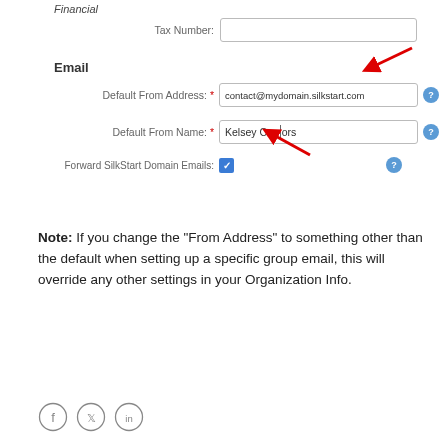Financial
Tax Number: [input field]
Email
Default From Address: * contact@mydomain.silkstart.com
Default From Name: * Kelsey Connors
Forward SilkStart Domain Emails: [checked checkbox]
Note: If you change the "From Address" to something other than the default when setting up a specific group email, this will override any other settings in your Organization Info.
[Figure (illustration): Social media icons: Facebook, Twitter, LinkedIn in circular outlines]